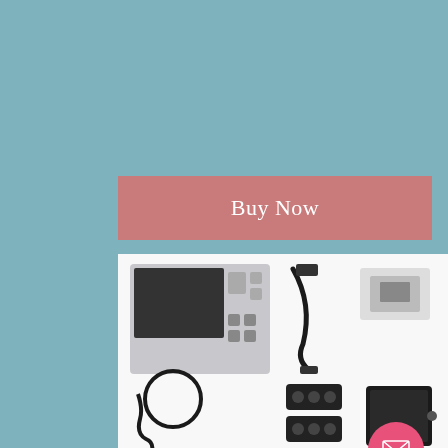Buy Now
[Figure (photo): Product kit photo showing Portable GeneratorX Pro Essential Kit components: main device unit, cable, accessories, sensors, electrodes, and miscellaneous items laid out on white background]
Portable GeneratorX Pro Essential K...
GeneratorX Pro (GX) is a high-tech frequency generator that gives you a list of frequency hits according to your biofeedback in minutes. Each